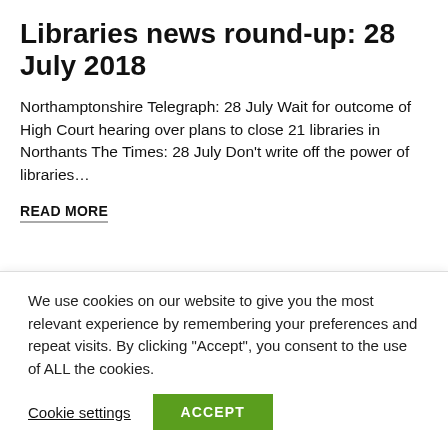Libraries news round-up: 28 July 2018
Northamptonshire Telegraph: 28 July Wait for outcome of High Court hearing over plans to close 21 libraries in Northants The Times: 28 July Don't write off the power of libraries…
READ MORE
26 JUL, 2018
We use cookies on our website to give you the most relevant experience by remembering your preferences and repeat visits. By clicking "Accept", you consent to the use of ALL the cookies.
Cookie settings  ACCEPT